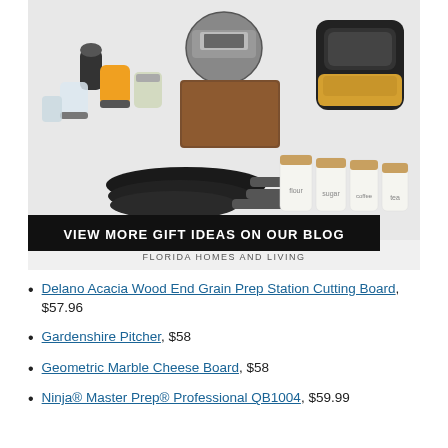[Figure (photo): Collage of kitchen gift items including a Ninja blender/chopper set, an Instant Pot, an air fryer, a cutting board, a set of non-stick pans, and ceramic canisters labeled flour, sugar, coffee, tea. A black banner reads 'VIEW MORE GIFT IDEAS ON OUR BLOG' and below it 'FLORIDA HOMES AND LIVING'.]
Delano Acacia Wood End Grain Prep Station Cutting Board, $57.96
Gardenshire Pitcher, $58
Geometric Marble Cheese Board, $58
Ninja® Master Prep® Professional QB1004, $59.99